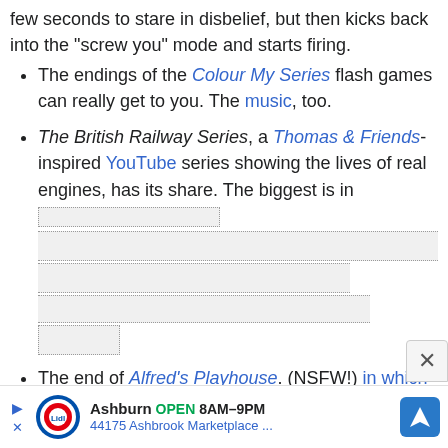few seconds to stare in disbelief, but then kicks back into the "screw you" mode and starts firing.
The endings of the Colour My Series flash games can really get to you. The music, too.
The British Railway Series, a Thomas & Friends-inspired YouTube series showing the lives of real engines, has its share. The biggest is in [redacted spoiler content]
The end of Alfred's Playhouse. (NSFW!) in which Alfred confronts his mind. In fact, the whole series. Something about the sexually abused dog who desperately retreats into a fantasy world in order to escape the trauma really gets to you.
[Figure (other): Advertisement banner for Lidl store in Ashburn, OPEN 8AM-9PM, 44175 Ashbrook Marketplace]